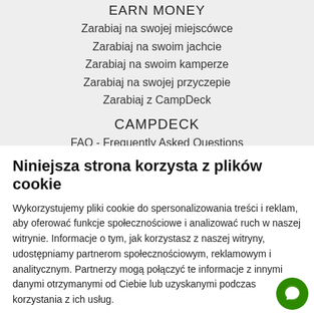EARN MONEY
Zarabiaj na swojej miejscówce
Zarabiaj na swoim jachcie
Zarabiaj na swoim kamperze
Zarabiaj na swojej przyczepie
Zarabiaj z CampDeck
CAMPDECK
FAQ - Frequently Asked Questions
Niniejsza strona korzysta z plików cookie
Wykorzystujemy pliki cookie do spersonalizowania treści i reklam, aby oferować funkcje społecznościowe i analizować ruch w naszej witrynie. Informacje o tym, jak korzystasz z naszej witryny, udostępniamy partnerom społecznościowym, reklamowym i analitycznym. Partnerzy mogą połączyć te informacje z innymi danymi otrzymanymi od Ciebie lub uzyskanymi podczas korzystania z ich usług.
Korzystaj wyłącznie z niezbędnych plików cookie
Zezwól na wszystkie ciasteczka
Pokaż szczegóły